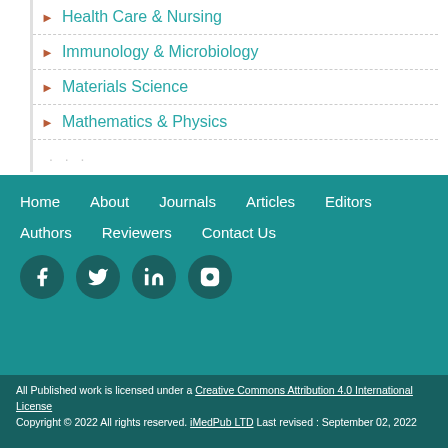Health Care & Nursing
Immunology & Microbiology
Materials Science
Mathematics & Physics
Home  About  Journals  Articles  Editors  Authors  Reviewers  Contact Us
All Published work is licensed under a Creative Commons Attribution 4.0 International License Copyright © 2022 All rights reserved. iMedPub LTD Last revised : September 02, 2022